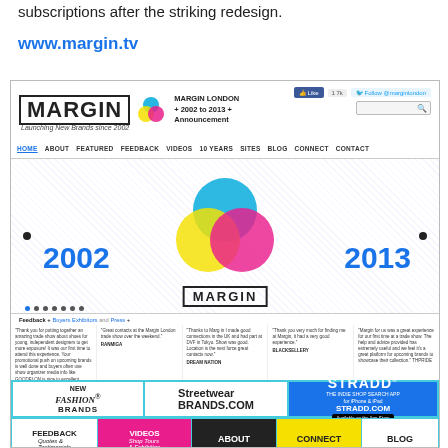subscriptions after the striking redesign.
www.margin.tv
[Figure (screenshot): Screenshot of margin.tv website showing the Margin London homepage with CMYK logo, 2002 to 2013 announcement, navigation bar, feedback testimonials, advertisement banners for New Fashion Brands, Streetwear Brands.com, and STRADD app, and bottom navigation buttons for Feedback, Videos, About, Connect, and Blog.]